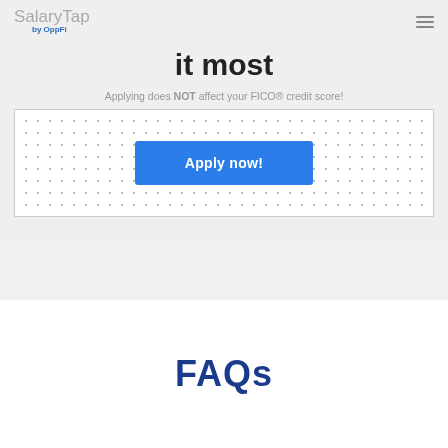SalaryTap by OppFi
it most
Applying does NOT affect your FICO® credit score!
[Figure (other): Dotted background box with Apply now! button in the center]
FAQs